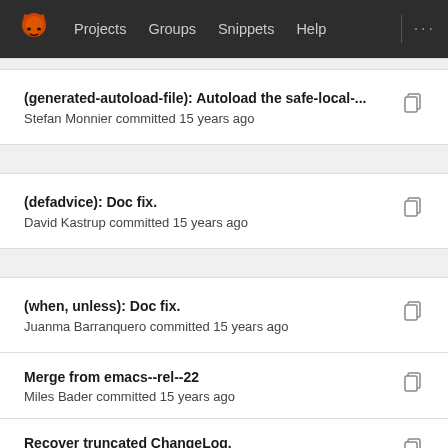Projects  Groups  Snippets  Help
(generated-autoload-file): Autoload the safe-local-... — Stefan Monnier committed 15 years ago
(defadvice): Doc fix. — David Kastrup committed 15 years ago
(when, unless): Doc fix. — Juanma Barranquero committed 15 years ago
Merge from emacs--rel--22 — Miles Bader committed 15 years ago
Recover truncated ChangeLog. — Miles Bader committed 15 ...